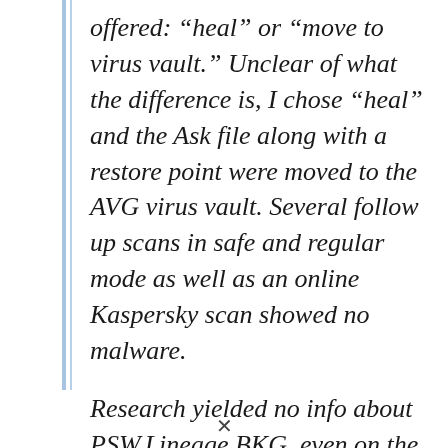offered: “heal” or “move to virus vault.” Unclear of what the difference is, I chose “heal” and the Ask file along with a restore point were moved to the AVG virus vault. Several follow up scans in safe and regular mode as well as an online Kaspersky scan showed no malware.

Research yielded no info about PSW.Lineage.BKG, even on the AVG site, but other PSW.Lineage Trojans are